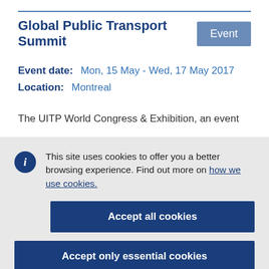Global Public Transport Summit
Event date:   Mon, 15 May - Wed, 17 May 2017
Location:   Montreal
The UITP World Congress & Exhibition, an event
This site uses cookies to offer you a better browsing experience. Find out more on how we use cookies.
Accept all cookies
Accept only essential cookies